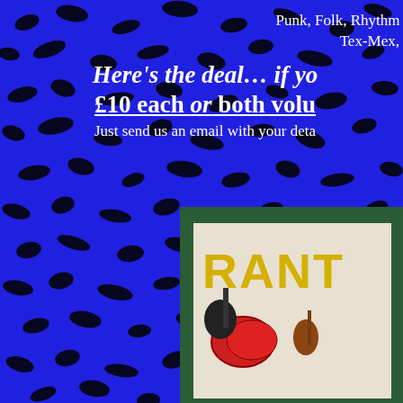[Figure (photo): Blue leopard print background with black spots covering the entire page. In the bottom right, a green-bordered book/magazine cover showing 'RANT' in yellow letters with illustrations of musical instruments including guitar, accordion, violin, and other instruments.]
Punk, Folk, Rhythm
Tex-Mex,
Here's the deal… if yo
£10 each or both volu
Just send us an email with your deta